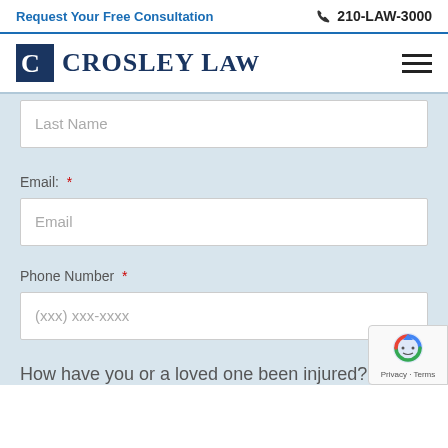Request Your Free Consultation
210-LAW-3000
[Figure (logo): Crosley Law firm logo with stylized C icon and firm name]
[Figure (other): Hamburger menu icon with three horizontal lines]
Last Name
Email: *
Email
Phone Number *
(xxx) xxx-xxxx
How have you or a loved one been injured? *
[Figure (other): reCAPTCHA badge with robot icon and Privacy - Terms text]